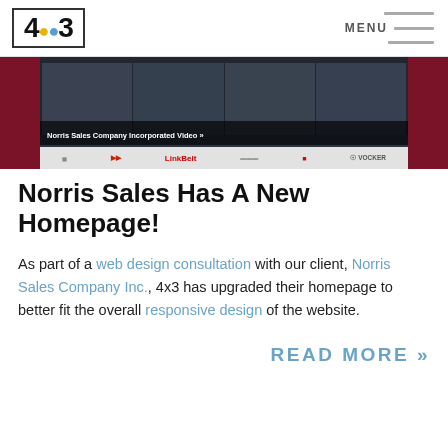4:3 — MENU
[Figure (screenshot): Screenshot of Norris Sales Company Incorporated website homepage with dark panels and logo bar. Caption reads: Norris Sales Company Incorporated Video »]
Norris Sales Has A New Homepage!
As part of a web design consultation with our client, Norris Sales Company Inc., 4x3 has upgraded their homepage to better fit the overall responsive design of the website.
READ MORE »